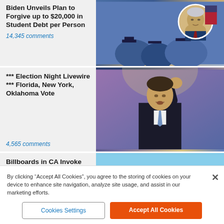Biden Unveils Plan to Forgive up to $20,000 in Student Debt per Person
14,345 comments
[Figure (photo): Photo of graduation ceremony with Biden inset portrait]
*** Election Night Livewire *** Florida, New York, Oklahoma Vote
4,565 comments
[Figure (photo): Photo of politician raising fist at podium]
Billboards in CA Invoke Uvalde Massacre, Warn 'Don't Move to Texas'
244 comments
[Figure (photo): Photo of Now Leaving California road sign with Texas sign inset]
By clicking “Accept All Cookies”, you agree to the storing of cookies on your device to enhance site navigation, analyze site usage, and assist in our marketing efforts.
Cookies Settings
Accept All Cookies